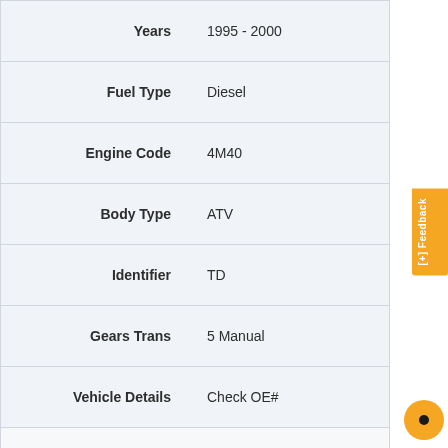| Field | Value |
| --- | --- |
| Years | 1995 - 2000 |
| Fuel Type | Diesel |
| Engine Code | 4M40 |
| Body Type | ATV |
| Identifier | TD |
| Gears Trans | 5 Manual |
| Vehicle Details | Check OE# |
| Make | Mitsubishi |